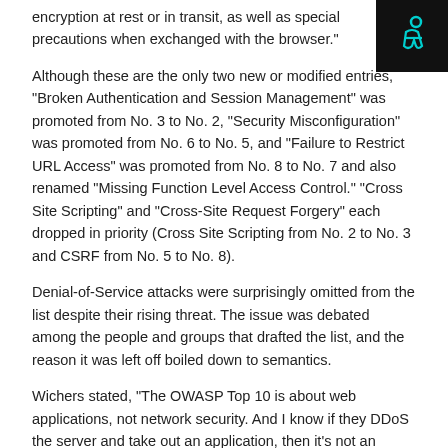encryption at rest or in transit, as well as special precautions when exchanged with the browser."
[Figure (logo): Dark square logo with a cyan/turquoise stylized person/accessibility icon on black background]
Although these are the only two new or modified entries, "Broken Authentication and Session Management" was promoted from No. 3 to No. 2, "Security Misconfiguration" was promoted from No. 6 to No. 5, and "Failure to Restrict URL Access" was promoted from No. 8 to No. 7 and also renamed "Missing Function Level Access Control." "Cross Site Scripting" and "Cross-Site Request Forgery" each dropped in priority (Cross Site Scripting from No. 2 to No. 3 and CSRF from No. 5 to No. 8).
Denial-of-Service attacks were surprisingly omitted from the list despite their rising threat. The issue was debated among the people and groups that drafted the list, and the reason it was left off boiled down to semantics.
Wichers stated, "The OWASP Top 10 is about web applications, not network security. And I know if they DDoS the server and take out an application, then it's not an application problem, but is there anything the application itself can do about the most common DDOS attacks?"
Are you a web application security professional looking to take